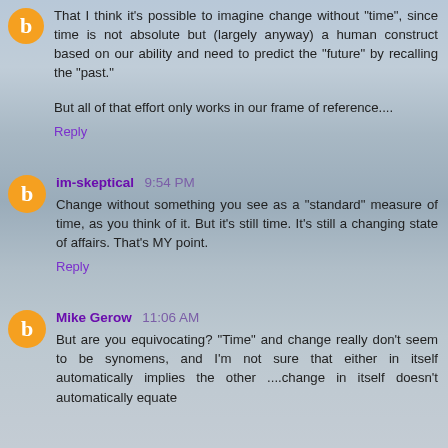That I think it's possible to imagine change without "time", since time is not absolute but (largely anyway) a human construct based on our ability and need to predict the "future" by recalling the "past."
But all of that effort only works in our frame of reference....
Reply
im-skeptical 9:54 PM
Change without something you see as a "standard" measure of time, as you think of it. But it's still time. It's still a changing state of affairs. That's MY point.
Reply
Mike Gerow 11:06 AM
But are you equivocating? "Time" and change really don't seem to be synomens, and I'm not sure that either in itself automatically implies the other ....change in itself doesn't automatically equate